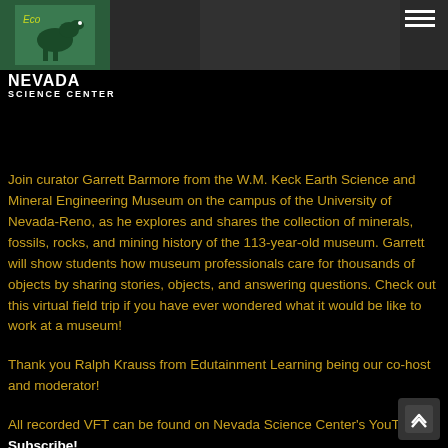[Figure (logo): Nevada Science Center logo with dinosaur graphic and text 'NEVADA SCIENCE CENTER']
Join curator Garrett Barmore from the W.M. Keck Earth Science and Mineral Engineering Museum on the campus of the University of Nevada-Reno, as he explores and shares the collection of minerals, fossils, rocks, and mining history of the 113-year-old museum. Garrett will show students how museum professionals care for thousands of objects by sharing stories, objects, and answering questions. Check out this virtual field trip if you have ever wondered what it would be like to work at a museum!
Thank you Ralph Krauss from Edutainment Learning being our co-host and moderator!
All recorded VFT can be found on Nevada Science Center's YouTube. Subscribe!